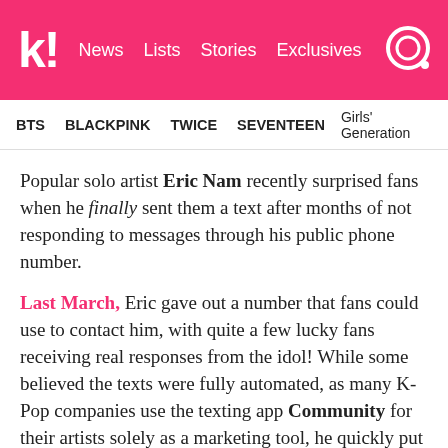K! News Lists Stories Exclusives
BTS  BLACKPINK  TWICE  SEVENTEEN  Girls' Generation
Popular solo artist Eric Nam recently surprised fans when he finally sent them a text after months of not responding to messages through his public phone number.
Last March, Eric gave out a number that fans could use to contact him, with quite a few lucky fans receiving real responses from the idol! While some believed the texts were fully automated, as many K-Pop companies use the texting app Community for their artists solely as a marketing tool, he quickly put those rumors to rest.